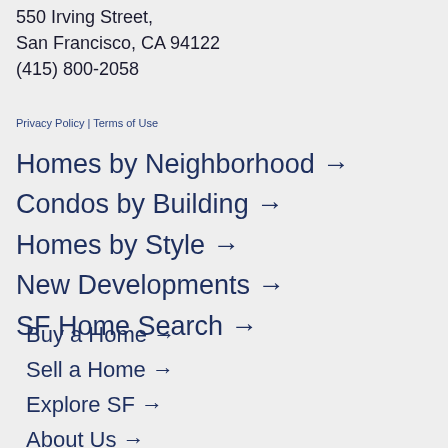550 Irving Street, San Francisco, CA 94122
(415) 800-2058
Privacy Policy | Terms of Use
Homes by Neighborhood →
Condos by Building →
Homes by Style →
New Developments →
SF Home Search →
Buy a Home →
Sell a Home →
Explore SF →
About Us →